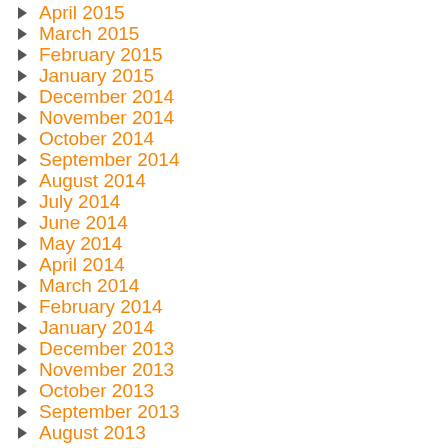April 2015
March 2015
February 2015
January 2015
December 2014
November 2014
October 2014
September 2014
August 2014
July 2014
June 2014
May 2014
April 2014
March 2014
February 2014
January 2014
December 2013
November 2013
October 2013
September 2013
August 2013